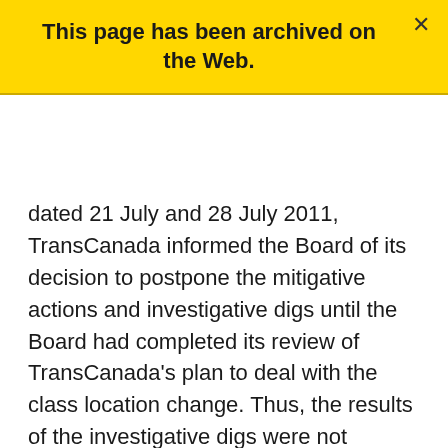This page has been archived on the Web.
dated 21 July and 28 July 2011, TransCanada informed the Board of its decision to postpone the mitigative actions and investigative digs until the Board had completed its review of TransCanada’s plan to deal with the class location change. Thus, the results of the investigative digs were not submitted to the Board.
The Board is of the view that the results of the investigative digs comprise an essential